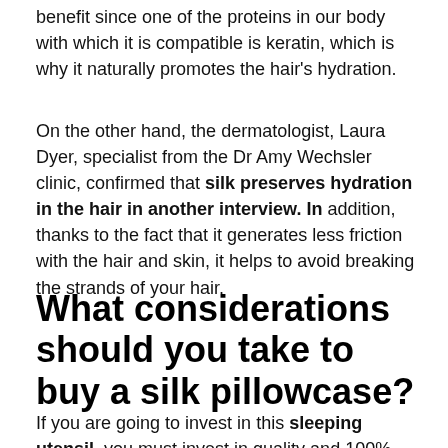benefit since one of the proteins in our body with which it is compatible is keratin, which is why it naturally promotes the hair's hydration.
On the other hand, the dermatologist, Laura Dyer, specialist from the Dr Amy Wechsler clinic, confirmed that silk preserves hydration in the hair in another interview. In addition, thanks to the fact that it generates less friction with the hair and skin, it helps to avoid breaking the strands of your hair.
What considerations should you take to buy a silk pillowcase?
If you are going to invest in this sleeping utensil, you must invest in quality and 100% silk, since other options. However